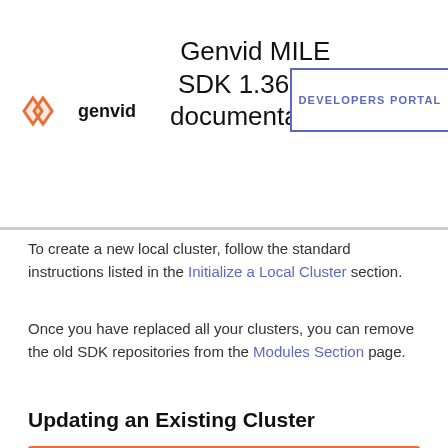Genvid MILE SDK 1.36.0.9 documentation
To create a new local cluster, follow the standard instructions listed in the Initialize a Local Cluster section.
Once you have replaced all your clusters, you can remove the old SDK repositories from the Modules Section page.
Updating an Existing Cluster
Warning
Updating your cluster can replace all your instances and even erase your current